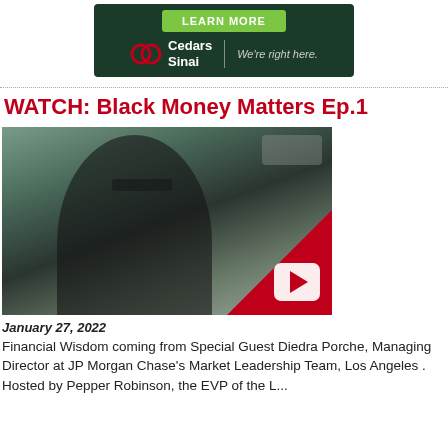[Figure (illustration): Cedars-Sinai advertisement banner with green LEARN MORE button, Cedars Sinai logo and tagline 'We're right here.' on dark green background]
WATCH: Black Money Matters Ep.1
[Figure (photo): Video thumbnail showing a Black woman with curly hair and glasses seated on a couch, with a red YouTube-style play button overlay in the bottom right corner]
January 27, 2022
Financial Wisdom coming from Special Guest Diedra Porche, Managing Director at JP Morgan Chase's Market Leadership Team, Los Angeles . Hosted by Pepper Robinson, the EVP of the L...